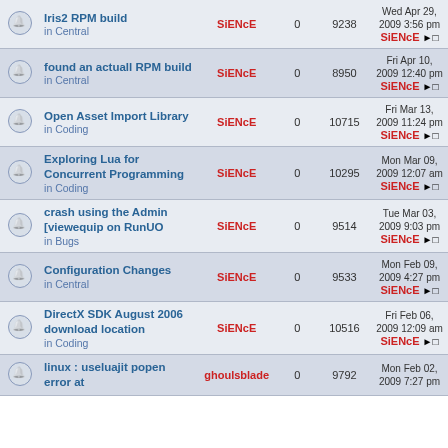|  | Topic | Author | Replies | Views | Last Post |
| --- | --- | --- | --- | --- | --- |
|  | Iris2 RPM build in Central | SiENcE | 0 | 9238 | Wed Apr 29, 2009 3:56 pm SiENcE |
|  | found an actuall RPM build in Central | SiENcE | 0 | 8950 | Fri Apr 10, 2009 12:40 pm SiENcE |
|  | Open Asset Import Library in Coding | SiENcE | 0 | 10715 | Fri Mar 13, 2009 11:24 pm SiENcE |
|  | Exploring Lua for Concurrent Programming in Coding | SiENcE | 0 | 10295 | Mon Mar 09, 2009 12:07 am SiENcE |
|  | crash using the Admin [viewequip on RunUO in Bugs | SiENcE | 0 | 9514 | Tue Mar 03, 2009 9:03 pm SiENcE |
|  | Configuration Changes in Central | SiENcE | 0 | 9533 | Mon Feb 09, 2009 4:27 pm SiENcE |
|  | DirectX SDK August 2006 download location in Coding | SiENcE | 0 | 10516 | Fri Feb 06, 2009 12:09 am SiENcE |
|  | linux : useluajit popen error at ... | ghoulsblade | 0 | 9792 | Mon Feb 02, 2009 7:27 pm |